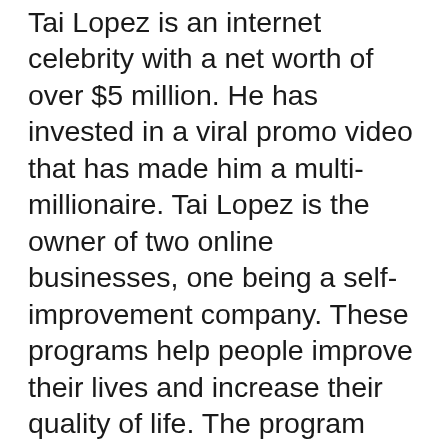Tai Lopez is an internet celebrity with a net worth of over $5 million. He has invested in a viral promo video that has made him a multi-millionaire. Tai Lopez is the owner of two online businesses, one being a self-improvement company. These programs help people improve their lives and increase their quality of life. The program costs $67 and includes 67 steps. Tai Lopez is a successful entrepreneur and should not be overlooked.
His business, Elite Global Dating, LLC, was the main source of his wealth. Around 2007, he became the owner of the company. Tai Lopez mentors people at conferences, in inner circles, and online. He also hosts a podcast called The Grand Theory of Everything. He is a successful businessman